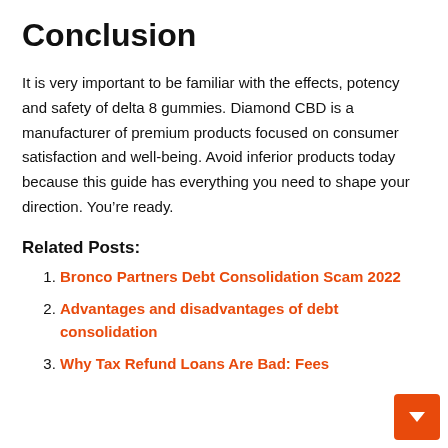Conclusion
It is very important to be familiar with the effects, potency and safety of delta 8 gummies. Diamond CBD is a manufacturer of premium products focused on consumer satisfaction and well-being. Avoid inferior products today because this guide has everything you need to shape your direction. You’re ready.
Related Posts:
Bronco Partners Debt Consolidation Scam 2022
Advantages and disadvantages of debt consolidation
Why Tax Refund Loans Are Bad: Fees